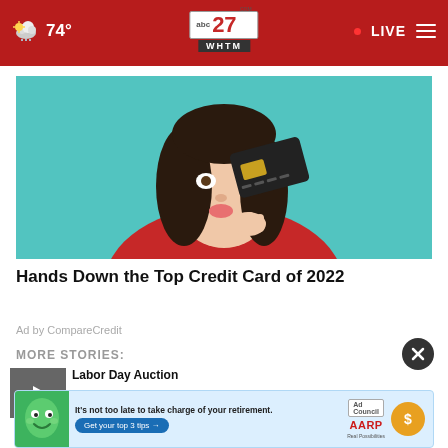74° | abc27 WHTM | LIVE
[Figure (photo): Woman holding a credit card over her eye against a teal background, wearing a red top]
Hands Down the Top Credit Card of 2022
Ad by CompareCredit
MORE STORIES:
[Figure (photo): Video thumbnail with play button]
Labor Day Auction
[Figure (infographic): AARP banner ad: It's not too late to take charge of your retirement. Get your top 3 tips. Ad Council AARP Real Possibilities.]